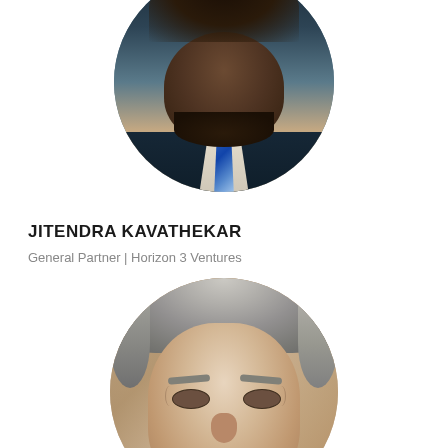[Figure (photo): Circular headshot of Jitendra Kavathekar, a man in a dark suit with a blue tie, cropped at the top of the page]
JITENDRA KAVATHEKAR
General Partner | Horizon 3 Ventures
[Figure (photo): Circular headshot of an older man with gray hair, partially visible, lower portion of the page]